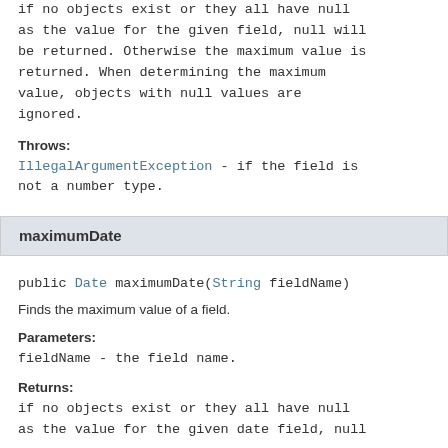if no objects exist or they all have null as the value for the given field, null will be returned. Otherwise the maximum value is returned. When determining the maximum value, objects with null values are ignored.
Throws:
IllegalArgumentException - if the field is not a number type.
maximumDate
public Date maximumDate(String fieldName)
Finds the maximum value of a field.
Parameters:
fieldName - the field name.
Returns:
if no objects exist or they all have null as the value for the given date field, null will be returned. Otherwise the maximum value is...